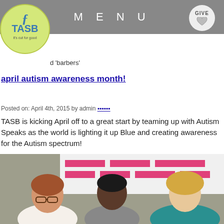MENU | GIVE
[Figure (logo): TASB circular logo with scissors icon and text 'it's cut for good']
d 'barbers'
april autism awareness month!
Posted on: April 4th, 2015 by admin
TASB is kicking April off to a great start by teaming up with Autism Speaks as the world is lighting it up Blue and creating awareness for the Autism spectrum!
[Figure (photo): Three women standing together in front of a banner with pink stripes. Left: white woman with red-brown hair and glasses wearing white shirt. Center: Black woman in grey blazer. Right: blonde woman in teal top.]